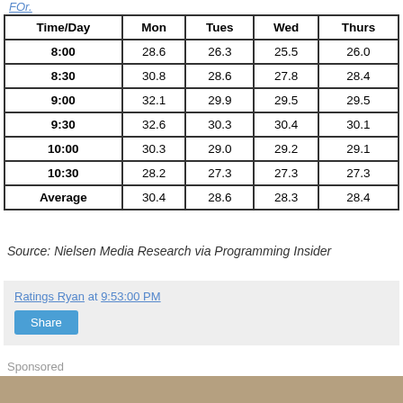FOr.
| Time/Day | Mon | Tues | Wed | Thurs |
| --- | --- | --- | --- | --- |
| 8:00 | 28.6 | 26.3 | 25.5 | 26.0 |
| 8:30 | 30.8 | 28.6 | 27.8 | 28.4 |
| 9:00 | 32.1 | 29.9 | 29.5 | 29.5 |
| 9:30 | 32.6 | 30.3 | 30.4 | 30.1 |
| 10:00 | 30.3 | 29.0 | 29.2 | 29.1 |
| 10:30 | 28.2 | 27.3 | 27.3 | 27.3 |
| Average | 30.4 | 28.6 | 28.3 | 28.4 |
Source: Nielsen Media Research via Programming Insider
Ratings Ryan at 9:53:00 PM
Share
Sponsored